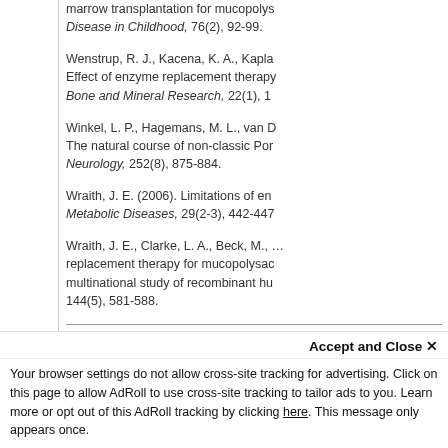marrow transplantation for mucopolys... Disease in Childhood, 76(2), 92-99.
Wenstrup, R. J., Kacena, K. A., Kapla... Effect of enzyme replacement therapy... Bone and Mineral Research, 22(1), 1...
Winkel, L. P., Hagemans, M. L., van D... The natural course of non-classic Por... Neurology, 252(8), 875-884.
Wraith, J. E. (2006). Limitations of en... Metabolic Diseases, 29(2-3), 442-447...
Wraith, J. E., Clarke, L. A., Beck, M., ... replacement therapy for mucopolysac... multinational study of recombinant hu... 144(5), 581-588.
© 2008 OJII... Ar...
Related Articles
A Resource Guide for Lea...
The Clinical Use of...
Accept and Close ✕
Your browser settings do not allow cross-site tracking for advertising. Click on this page to allow AdRoll to use cross-site tracking to tailor ads to you. Learn more or opt out of this AdRoll tracking by clicking here. This message only appears once.